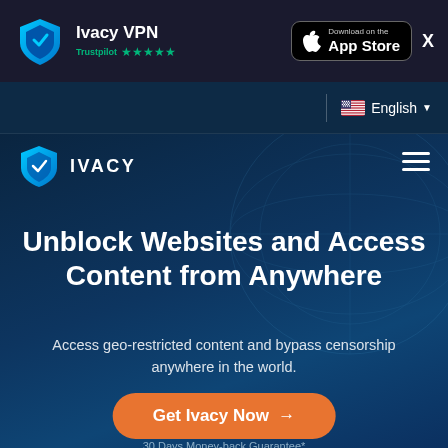Ivacy VPN — Trustpilot ★★★★★
[Figure (logo): Ivacy VPN shield logo with blue gradient and Trustpilot 5-star rating]
[Figure (screenshot): Download on the App Store button]
X
🇺🇸 English ▼
[Figure (logo): Ivacy shield logo in navigation bar with IVACY text]
[Figure (infographic): Hamburger menu icon (three horizontal lines)]
Unblock Websites and Access Content from Anywhere
Access geo-restricted content and bypass censorship anywhere in the world.
Get Ivacy Now →
30 Days Money-back Guarantee*